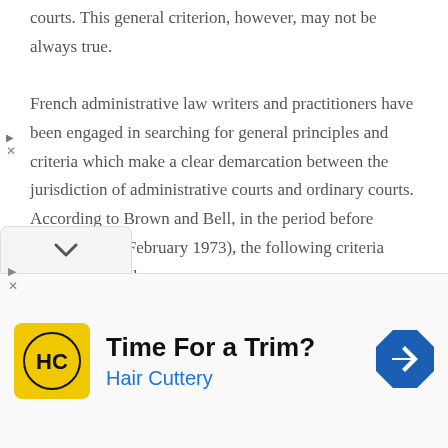courts. This general criterion, however, may not be always true.
French administrative law writers and practitioners have been engaged in searching for general principles and criteria which make a clear demarcation between the jurisdiction of administrative courts and ordinary courts. According to Brown and Bell, in the period before Blanco (TC 8 February 1973), the following criteria were developed:
The first was that of the state as a debtor, under which the Conseil d'Etat denied the ordinary
[Figure (other): Advertisement banner for Hair Cuttery with yellow logo, 'Time For a Trim?' headline, and blue navigation arrow icon]